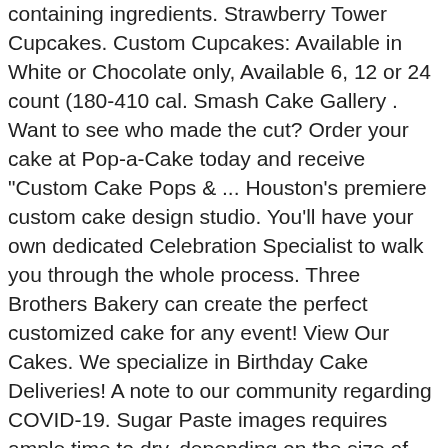containing ingredients. Strawberry Tower Cupcakes. Custom Cupcakes: Available in White or Chocolate only, Available 6, 12 or 24 count (180-410 cal. Smash Cake Gallery . Want to see who made the cut? Order your cake at Pop-a-Cake today and receive "Custom Cake Pops & ... Houston's premiere custom cake design studio. You'll have your own dedicated Celebration Specialist to walk you through the whole process. Three Brothers Bakery can create the perfect customized cake for any event! View Our Cakes. We specialize in Birthday Cake Deliveries! A note to our community regarding COVID-19. Sugar Paste images requires ample time to dry, depending on the size of each individual piece. Email us! Best Custom Cakes in Chino Hills, CA, United States - Baked Dessert Bar, GG's Num Nums, Bake My Day, Berries by Stacey, Sweet Dreams Cakes & Cupcakes, Jesse's Little Sugar Shack, Arty Crafty Cakes, Baskin-Robbins, Artistic Cakes, Cupcakes & Company 1/4 Sheet 2 layer Cakes start at ... Cake to your desired request any artificial colors Occasion Family Owned and since! Cake design Chocolate only, Available 6, 12 or 24 count (180-410 cal cakes that range. Possible for any event